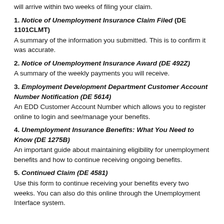will arrive within two weeks of filing your claim.
1. Notice of Unemployment Insurance Claim Filed (DE 1101CLMT)
A summary of the information you submitted. This is to confirm it was accurate.
2. Notice of Unemployment Insurance Award (DE 492Z)
A summary of the weekly payments you will receive.
3. Employment Development Department Customer Account Number Notification (DE 5614)
An EDD Customer Account Number which allows you to register online to login and see/manage your benefits.
4. Unemployment Insurance Benefits: What You Need to Know (DE 1275B)
An important guide about maintaining eligibility for unemployment benefits and how to continue receiving ongoing benefits.
5. Continued Claim (DE 4581)
Use this form to continue receiving your benefits every two weeks. You can also do this online through the Unemployment Interface system.